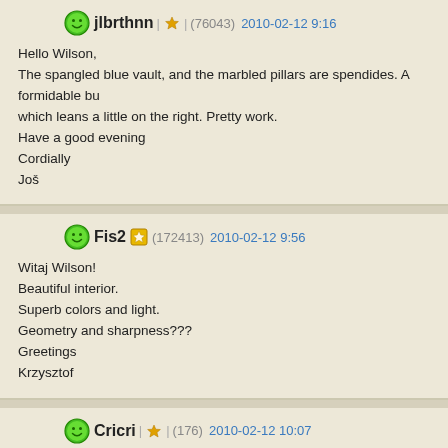jlbrthnn | ★ | (76043) 2010-02-12 9:16
Hello Wilson,
The spangled blue vault, and the marbled pillars are spendides. A formidable bu which leans a little on the right. Pretty work.
Have a good evening
Cordially
Joë
Fis2 ★ (172413) 2010-02-12 9:56
Witaj Wilson!
Beautiful interior.
Superb colors and light.
Geometry and sharpness???
Greetings
Krzysztof
Cricri | ★ | (176) 2010-02-12 10:07
Hi Wilson
Quel magnifique richesse dans les détails et les couleurs de l'intérieur de la cathédration
Bientôt